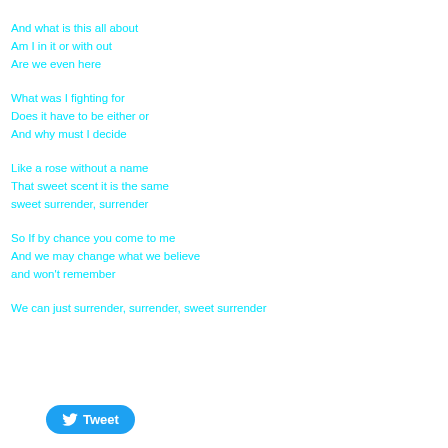And what is this all about
Am I in it or with out
Are we even here
What was I fighting for
Does it have to be either or
And why must I decide
Like a rose without a name
That sweet scent it is the same
sweet surrender, surrender
So If by chance you come to me
And we may change what we believe
and won't remember
We can just surrender, surrender, sweet surrender
Tweet